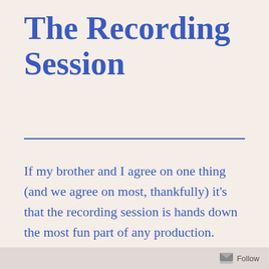The Recording Session
If my brother and I agree on one thing (and we agree on most, thankfully) it’s that the recording session is hands down the most fun part of any production.  Why?  Animation production is a very long and tedious process.  It takes months to see a concept emerge in final form.  When we record our songs, we walk into the studio in the morning with lyrics and a temp track and by the
Follow